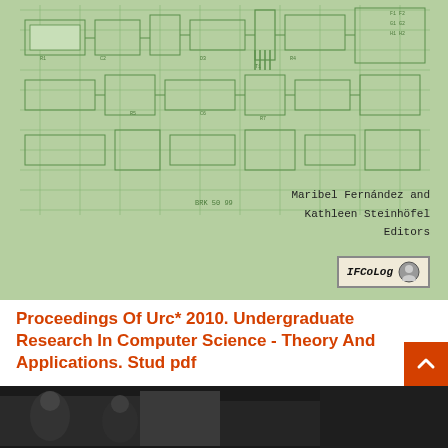[Figure (illustration): Book cover with light green background showing a technical blueprint/engineering schematic diagram. In the lower right area text reads 'Maribel Fernández and Kathleen Steinhöfel Editors' with a small logo box labeled 'IFCoLog' with a portrait icon.]
Proceedings Of Urc* 2010. Undergraduate Research In Computer Science - Theory And Applications. Stud pdf
...
[Figure (photo): Partial photo visible at the bottom of the page, appears to show people in a dark setting.]